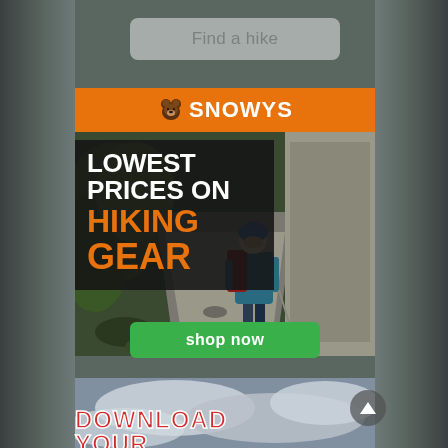Find a hike
[Figure (screenshot): Snowys outdoor gear advertisement banner with orange header showing Snowys logo, photo of hiker on mountain trail, text overlay reading LOWEST PRICES ON HIKING GEAR, and green shop now button]
LOWEST PRICES ON HIKING GEAR
shop now
[Figure (photo): Partial bottom banner showing cloudy sky with DOWNLOAD YOUR text in red bold font]
DOWNLOAD YOUR